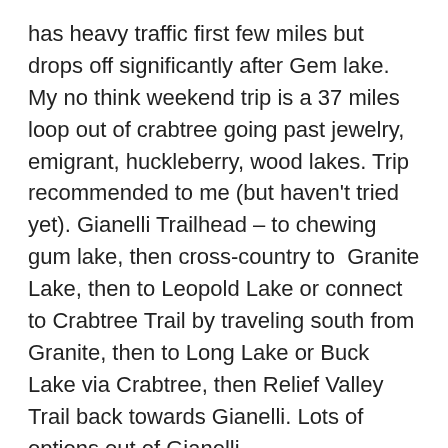has heavy traffic first few miles but drops off significantly after Gem lake. My no think weekend trip is a 37 miles loop out of crabtree going past jewelry, emigrant, huckleberry, wood lakes. Trip recommended to me (but haven't tried yet). Gianelli Trailhead – to chewing gum lake, then cross-country to  Granite Lake, then to Leopold Lake or connect to Crabtree Trail by traveling south from Granite, then to Long Lake or Buck Lake via Crabtree, then Relief Valley Trail back towards Gianelli. Lots of options out of Gianelli.
John Muir Trail. 222 miles of the prettiest country known to man which also happens to be graced by some of the mildest weather of any mountain range. If you can only do a section, doing South Lake to